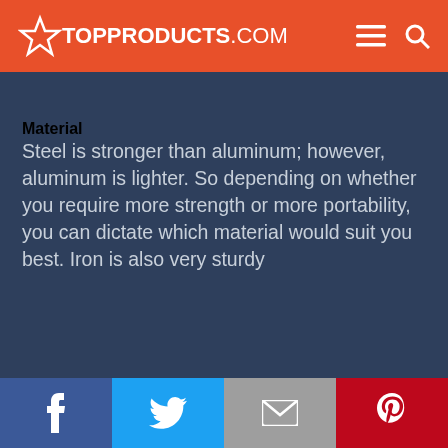TOP PRODUCTS .COM
Material
Steel is stronger than aluminum; however, aluminum is lighter. So depending on whether you require more strength or more portability, you can dictate which material would suit you best. Iron is also very sturdy
Facebook | Twitter | Email | Pinterest